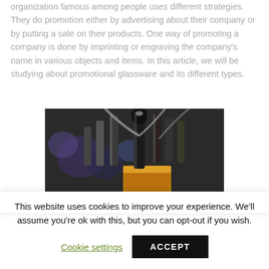organization famous among people uses different strategies. They do promotion either by advertising about their company or by putting a sale on their products. One way of promoting a company is done by imprinting or engraving the company's name in various objects and items. In this article, we will be studying about promotional glassware and its different types.
[Figure (photo): Photo of beer tap handles at a bar, showing multiple metallic tap handles in a row, with a golden beer visible in the foreground.]
This website uses cookies to improve your experience. We'll assume you're ok with this, but you can opt-out if you wish.
Cookie settings   ACCEPT